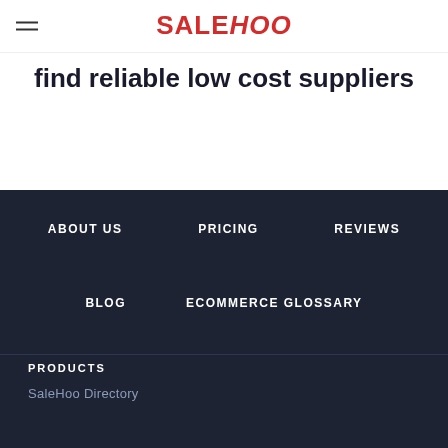SaleHoo
find reliable low cost suppliers
Find out how
ABOUT US  PRICING  REVIEWS  BLOG  ECOMMERCE GLOSSARY
PRODUCTS
SaleHoo Directory